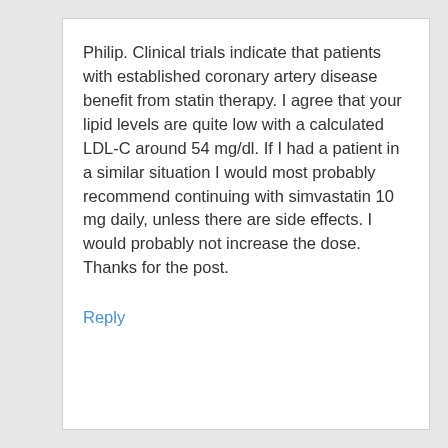Philip. Clinical trials indicate that patients with established coronary artery disease benefit from statin therapy. I agree that your lipid levels are quite low with a calculated LDL-C around 54 mg/dl. If I had a patient in a similar situation I would most probably recommend continuing with simvastatin 10 mg daily, unless there are side effects. I would probably not increase the dose. Thanks for the post.
Reply